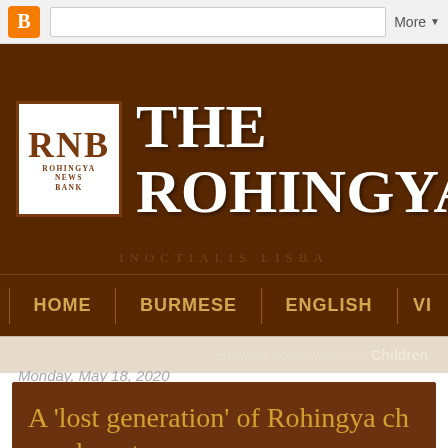[Figure (screenshot): Blogger navigation bar with orange B icon, search box, and More dropdown]
[Figure (logo): RNB Rohingya News Bank logo with site title 'THE ROHINGYA NE...' on dark brown background with map texture]
HOME | BURMESE | ENGLISH | VI...
Showing posts with label Children.
Monday, May 18, 2020
A 'lost generation' of Rohingya ch... nowhere to go